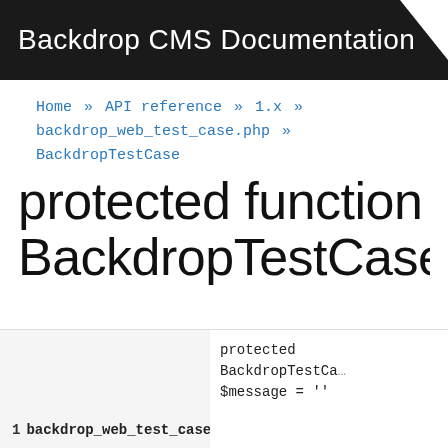Backdrop CMS Documentation
Home » API reference » 1.x » backdrop_web_test_case.php » BackdropTestCase
protected function BackdropTestCase::assert
1  backdrop_web_test_case.php    protected BackdropTestCa... $message = ''